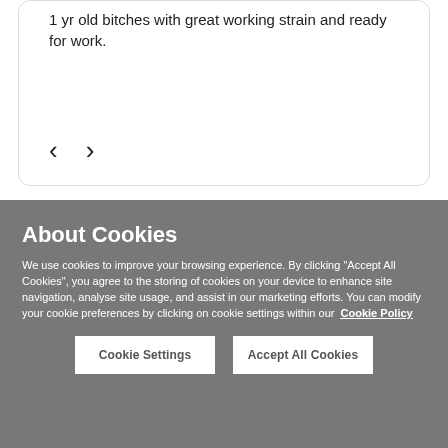1 yr old bitches with great working strain and ready for work.
< >
About Cookies
We use cookies to improve your browsing experience. By clicking "Accept All Cookies", you agree to the storing of cookies on your device to enhance site navigation, analyse site usage, and assist in our marketing efforts. You can modify your cookie preferences by clicking on cookie settings within our Cookie Policy
Cookie Settings
Accept All Cookies